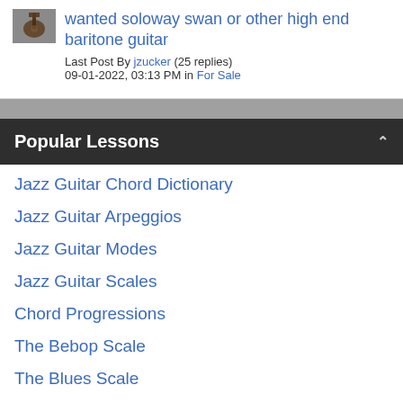[Figure (photo): Small thumbnail image of a guitar]
wanted soloway swan or other high end baritone guitar
Last Post By jzucker (25 replies)
09-01-2022, 03:13 PM in For Sale
Popular Lessons
Jazz Guitar Chord Dictionary
Jazz Guitar Arpeggios
Jazz Guitar Modes
Jazz Guitar Scales
Chord Progressions
The Bebop Scale
The Blues Scale
Autumn Leaves
Summertime